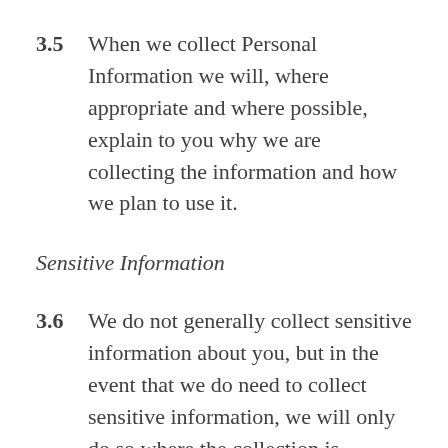3.5   When we collect Personal Information we will, where appropriate and where possible, explain to you why we are collecting the information and how we plan to use it.
Sensitive Information
3.6   We do not generally collect sensitive information about you, but in the event that we do need to collect sensitive information, we will only do so where the collection is required or authorised by law or with your prior...